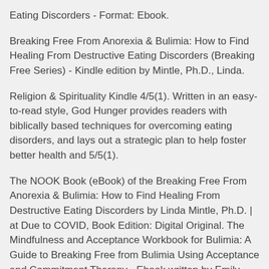Eating Discorders - Format: Ebook.
Breaking Free From Anorexia & Bulimia: How to Find Healing From Destructive Eating Discorders (Breaking Free Series) - Kindle edition by Mintle, Ph.D., Linda.
Religion & Spirituality Kindle 4/5(1). Written in an easy-to-read style, God Hunger provides readers with biblically based techniques for overcoming eating disorders, and lays out a strategic plan to help foster better health and 5/5(1).
The NOOK Book (eBook) of the Breaking Free From Anorexia & Bulimia: How to Find Healing From Destructive Eating Discorders by Linda Mintle, Ph.D. | at Due to COVID, Book Edition: Digital Original. The Mindfulness and Acceptance Workbook for Bulimia: A Guide to Breaking Free from Bulimia Using Acceptance and Commitment Therapy - Ebook written by Emily Sandoz, Kelly Wilson, Troy DuFrene.